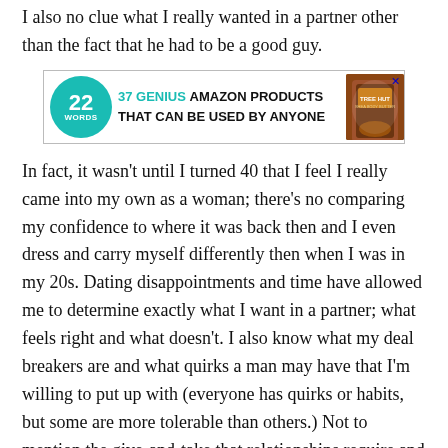I also no clue what I really wanted in a partner other than the fact that he had to be a good guy.
[Figure (other): Advertisement banner: '37 GENIUS AMAZON PRODUCTS THAT CAN BE USED BY ANYONE' with a teal circle showing '22 WORDS' logo and a product image of a shea body butter jar.]
In fact, it wasn't until I turned 40 that I feel I really came into my own as a woman; there's no comparing my confidence to where it was back then and I even dress and carry myself differently then when I was in my 20s. Dating disappointments and time have allowed me to determine exactly what I want in a partner; what feels right and what doesn't. I also know what my deal breakers are and what quirks a man may have that I'm willing to put up with (everyone has quirks or habits, but some are more tolerable than others.) Not to mention the give-and-take that relationships require and the communication and honesty needed to work out disagreements. It's the kind of perspective most 25 year-olds simply do not have...or at least, certainly not the perspective I had when I was 25.
Today I'm 43, single, and have believed for a while now that most